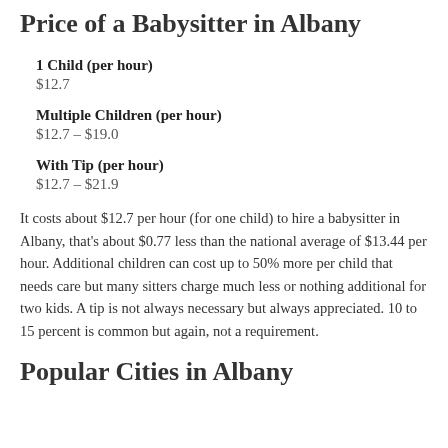Price of a Babysitter in Albany
1 Child (per hour)
$12.7
Multiple Children (per hour)
$12.7 – $19.0
With Tip (per hour)
$12.7 – $21.9
It costs about $12.7 per hour (for one child) to hire a babysitter in Albany, that's about $0.77 less than the national average of $13.44 per hour. Additional children can cost up to 50% more per child that needs care but many sitters charge much less or nothing additional for two kids. A tip is not always necessary but always appreciated. 10 to 15 percent is common but again, not a requirement.
Popular Cities in Albany